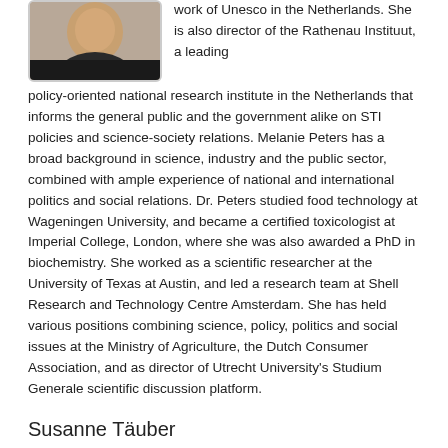[Figure (photo): Partial photo of Melanie Peters, a woman with dark hair]
work of Unesco in the Netherlands. She is also director of the Rathenau Instituut, a leading policy-oriented national research institute in the Netherlands that informs the general public and the government alike on STI policies and science-society relations. Melanie Peters has a broad background in science, industry and the public sector, combined with ample experience of national and international politics and social relations. Dr. Peters studied food technology at Wageningen University, and became a certified toxicologist at Imperial College, London, where she was also awarded a PhD in biochemistry. She worked as a scientific researcher at the University of Texas at Austin, and led a research team at Shell Research and Technology Centre Amsterdam. She has held various positions combining science, policy, politics and social issues at the Ministry of Agriculture, the Dutch Consumer Association, and as director of Utrecht University's Studium Generale scientific discussion platform.
Susanne Täuber
[Figure (photo): Photo of Susanne Täuber, a woman with long dark hair]
Associate Professor at the University of Groningen

Susanne Täuber is Associate Professor at the University of Groningen in the department of Human Resource Management and Organizational Behavior. Her research focuses on gaps between policy and actual progress,